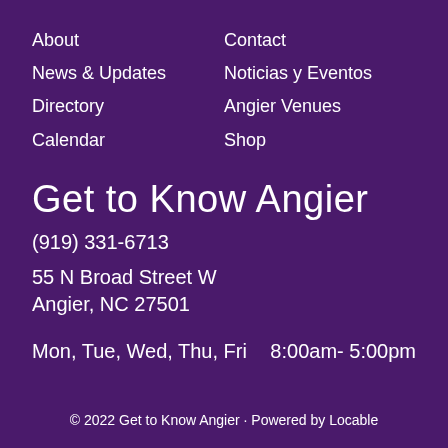About
News & Updates
Directory
Calendar
Contact
Noticias y Eventos
Angier Venues
Shop
Get to Know Angier
(919) 331-6713
55 N Broad Street W
Angier, NC 27501
Mon, Tue, Wed, Thu, Fri     8:00am- 5:00pm
© 2022 Get to Know Angier · Powered by Locable